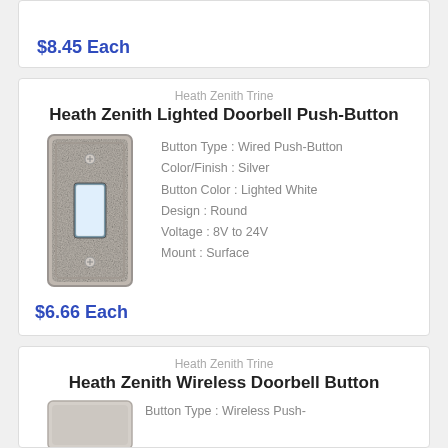$8.45 Each
Heath Zenith Trine
Heath Zenith Lighted Doorbell Push-Button
[Figure (photo): Silver rectangular doorbell push-button with lighted white center button and decorative textured silver frame]
Button Type : Wired Push-Button
Color/Finish : Silver
Button Color : Lighted White
Design : Round
Voltage : 8V to 24V
Mount : Surface
$6.66 Each
Heath Zenith Trine
Heath Zenith Wireless Doorbell Button
Button Type : Wireless Push-